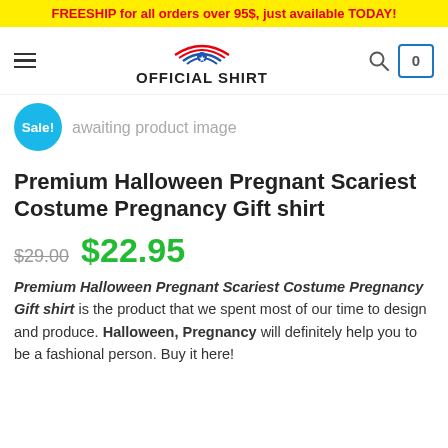FREESHIP for all orders over 95$, just available TODAY!
[Figure (logo): Official Shirt logo with American flag eagle graphic and text OFFICIAL SHIRT]
[Figure (other): Awaiting product image placeholder with Sale! badge]
Premium Halloween Pregnant Scariest Costume Pregnancy Gift shirt
$29.00  $22.95
Premium Halloween Pregnant Scariest Costume Pregnancy Gift shirt is the product that we spent most of our time to design and produce. Halloween, Pregnancy will definitely help you to be a fashional person. Buy it here!